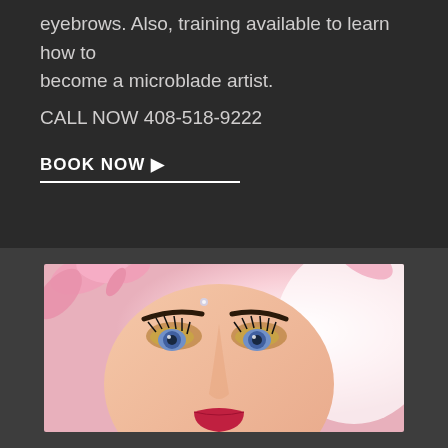eyebrows. Also, training available to learn how to become a microblade artist.
CALL NOW 408-518-9222
BOOK NOW ▶
[Figure (photo): Close-up portrait of a woman with dramatic makeup, bold eyebrows, colorful eye shadow, long lashes, and red lips, with pink floral elements in her hair against a pink-white background.]